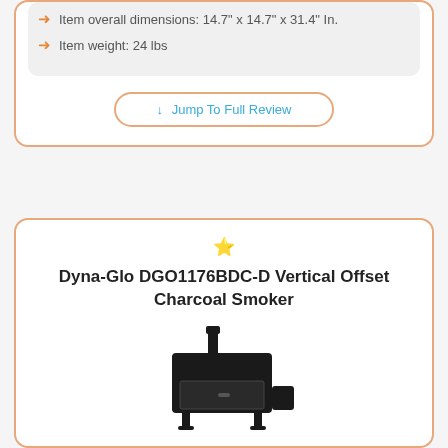Item overall dimensions: 14.7" x 14.7" x 31.4" In.
Item weight: 24 lbs
↓ Jump To Full Review
Dyna-Glo DGO1176BDC-D Vertical Offset Charcoal Smoker
[Figure (photo): Photo of a black vertical offset charcoal smoker with chimney on top]